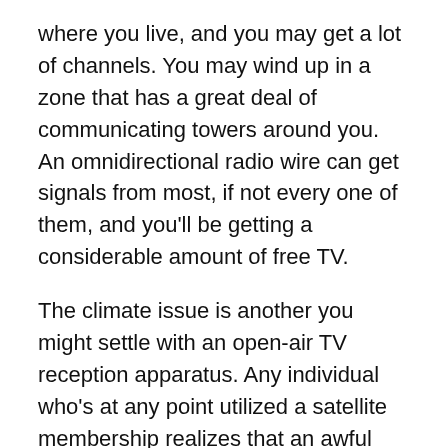where you live, and you may get a lot of channels. You may wind up in a zone that has a great deal of communicating towers around you. An omnidirectional radio wire can get signals from most, if not every one of them, and you'll be getting a considerable amount of free TV.
The climate issue is another you might settle with an open-air TV reception apparatus. Any individual who's at any point utilized a satellite membership realizes that an awful climate can make sitting in front of the TV about outlandish. In any case, if you have an open-air TV reception apparatus, that is not as quite a bit of an issue. The climate won't influence a decent reception apparatus, so you ought to be a great idea to go. On the off chance that you need no doubt, get a top-notch reception apparatus.